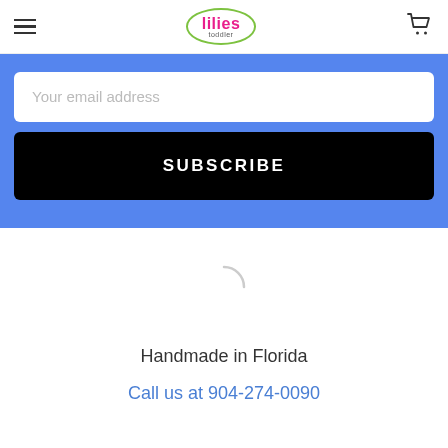lilies toddler — navigation header with hamburger menu and cart icon
Your email address
SUBSCRIBE
[Figure (other): Loading spinner arc icon]
Handmade in Florida
Call us at 904-274-0090